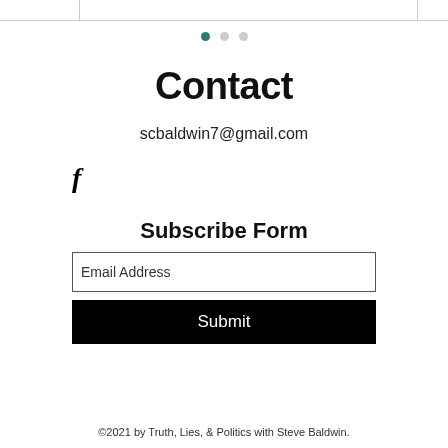[Figure (screenshot): Top navigation bar with left panel, wide center panel, and small right panel separated by borders]
[Figure (infographic): Three pagination dots, first dot filled teal/green (active), second and third dots gray]
Contact
scbaldwin7@gmail.com
[Figure (logo): Facebook 'f' icon in bold italic serif font]
Subscribe Form
[Figure (screenshot): Email Address input field with border]
[Figure (screenshot): Black Submit button with white text]
©2021 by Truth, Lies, & Politics with Steve Baldwin.